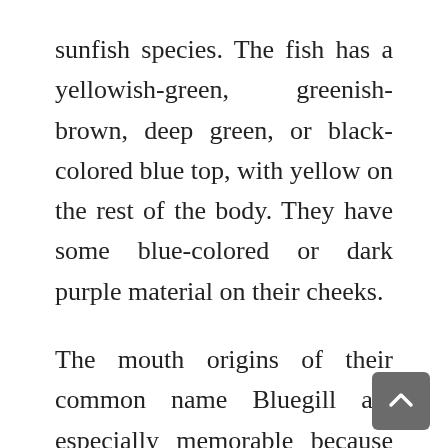sunfish species. The fish has a yellowish-green, greenish-brown, deep green, or black-colored blue top, with yellow on the rest of the body. They have some blue-colored or dark purple material on their cheeks.
The mouth origins of their common name Bluegill are especially memorable because of their small size.
The dorsal fins unite to give the impression of a single-page fin, small face, long-p[ectoral fins, with two broadly connected...